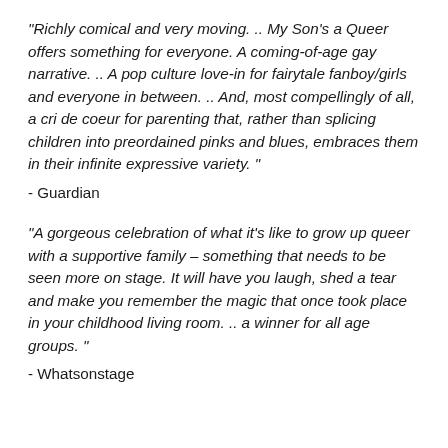"Richly comical and very moving. .. My Son's a Queer offers something for everyone. A coming-of-age gay narrative. .. A pop culture love-in for fairytale fanboy/girls and everyone in between. .. And, most compellingly of all, a cri de coeur for parenting that, rather than splicing children into preordained pinks and blues, embraces them in their infinite expressive variety. "
- Guardian
"A gorgeous celebration of what it's like to grow up queer with a supportive family – something that needs to be seen more on stage. It will have you laugh, shed a tear and make you remember the magic that once took place in your childhood living room. .. a winner for all age groups. "
- Whatsonstage